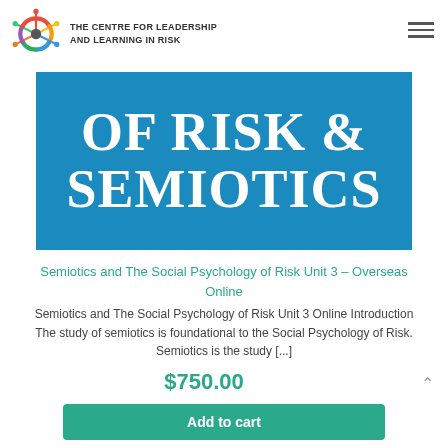[Figure (logo): Colourful circular logo with spokes, for The Centre for Leadership and Learning in Risk]
The Centre for Leadership and Learning in Risk
[Figure (illustration): Blue book cover image with large white bold text reading 'OF RISK & SEMIOTICS']
Semiotics and The Social Psychology of Risk Unit 3 – Overseas Online
Semiotics and The Social Psychology of Risk Unit 3 Online Introduction The study of semiotics is foundational to the Social Psychology of Risk. Semiotics is the study [...]
$750.00
Add to cart